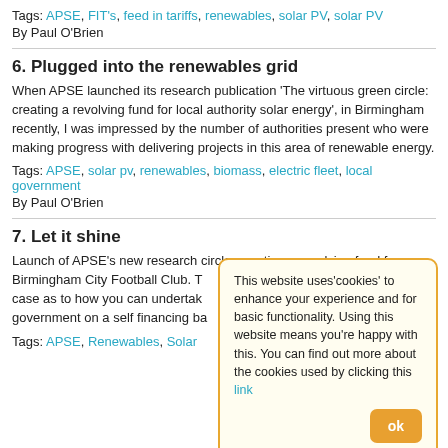Tags: APSE, FIT's, feed in tariffs, renewables, solar PV, solar PV
By Paul O'Brien
6. Plugged into the renewables grid
When APSE launched its research publication ‘The virtuous green circle: creating a revolving fund for local authority solar energy’, in Birmingham recently, I was impressed by the number of authorities present who were making progress with delivering projects in this area of renewable energy.
Tags: APSE, solar pv, renewables, biomass, electric fleet, local government
By Paul O'Brien
7. Let it shine
Launch of APSE's new research circle: creating a revolving fund for Birmingham City Football Club. T case as to how you can undertak government on a self financing ba
Tags: APSE, Renewables, Solar
This website uses'cookies' to enhance your experience and for basic functionality. Using this website means you're happy with this. You can find out more about the cookies used by clicking this link